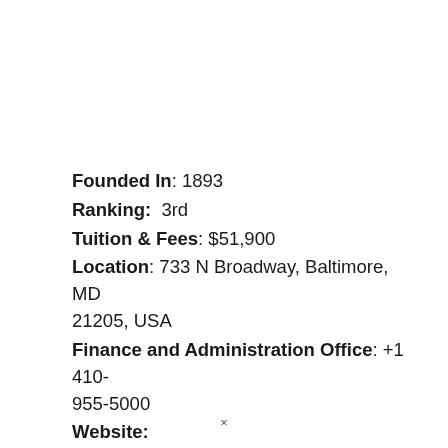Founded In: 1893
Ranking:  3rd
Tuition & Fees: $51,900
Location: 733 N Broadway, Baltimore, MD 21205, USA
Finance and Administration Office: +1 410-955-5000
Website: https://www.hopkinsmedicine.org
×